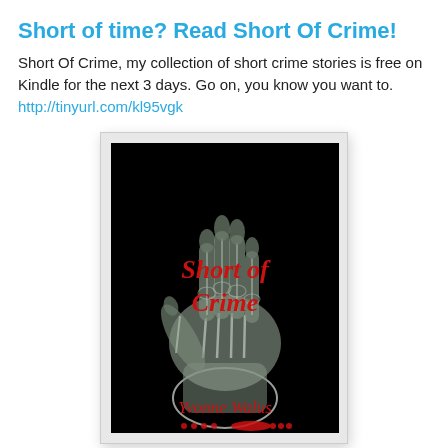Short of time? Read Short Of Crime!
Short Of Crime, my collection of short crime stories is free on Kindle for the next 3 days. Go on, you know you want to. http://tinyurl.com/kl95vgk
[Figure (illustration): Book cover for 'Short of Crime' by Yvonne Walus. Black background with an X-ray image of a skeletal hand with long fingernails. Red text reads 'Short of Crime' in the upper area and 'Yvonne Walus' at the bottom. Red dots and a red shape appear at the very bottom of the cover.]